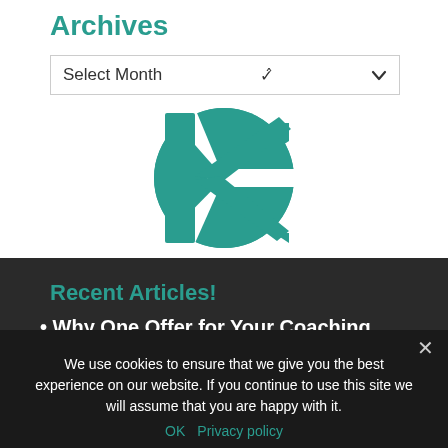Archives
Select Month
[Figure (logo): Teal circular logo with a stylized 'K' letter formed by white diagonal cuts through a teal circle]
Recent Articles!
Why One Offer for Your Coaching
We use cookies to ensure that we give you the best experience on our website. If you continue to use this site we will assume that you are happy with it.
OK   Privacy policy